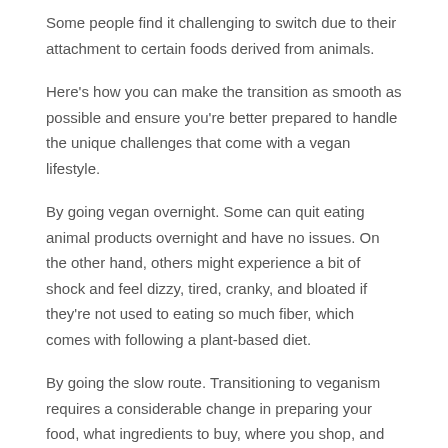Some people find it challenging to switch due to their attachment to certain foods derived from animals.
Here's how you can make the transition as smooth as possible and ensure you're better prepared to handle the unique challenges that come with a vegan lifestyle.
By going vegan overnight. Some can quit eating animal products overnight and have no issues. On the other hand, others might experience a bit of shock and feel dizzy, tired, cranky, and bloated if they're not used to eating so much fiber, which comes with following a plant-based diet.
By going the slow route. Transitioning to veganism requires a considerable change in preparing your food, what ingredients to buy, where you shop, and proper meal planning. This is the time to experiment, make mistakes and adjustments as you go along.